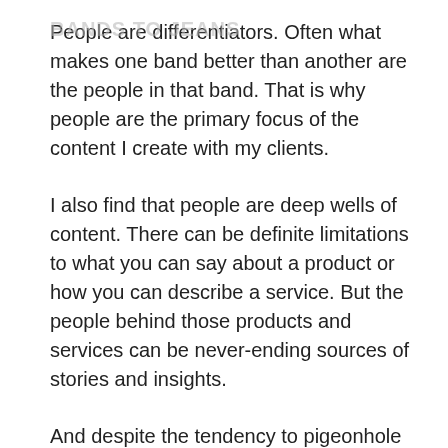BANDS TO JEANS
People are differentiators. Often what makes one band better than another are the people in that band. That is why people are the primary focus of the content I create with my clients.
I also find that people are deep wells of content. There can be definite limitations to what you can say about a product or how you can describe a service. But the people behind those products and services can be never-ending sources of stories and insights.
And despite the tendency to pigeonhole whole swaths of people into broad, generic categories, in reality there are an infinite number of variations with people. And to me that makes for interesting reading. Two guitarists who play the same style of music -- hell, two guitarists in the